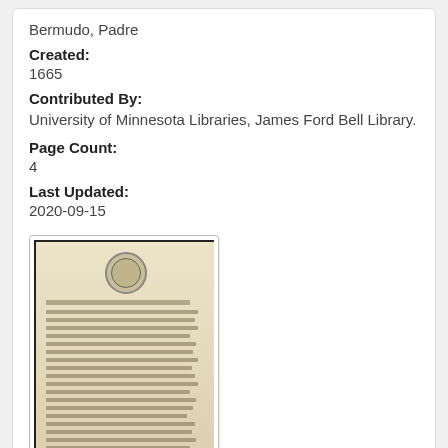Bermudo, Padre
Created:
1665
Contributed By:
University of Minnesota Libraries, James Ford Bell Library.
Page Count:
4
Last Updated:
2020-09-15
[Figure (photo): Thumbnail image of a historical document page with a circular seal at the top and dense text in old script below.]
An answer of the Company of